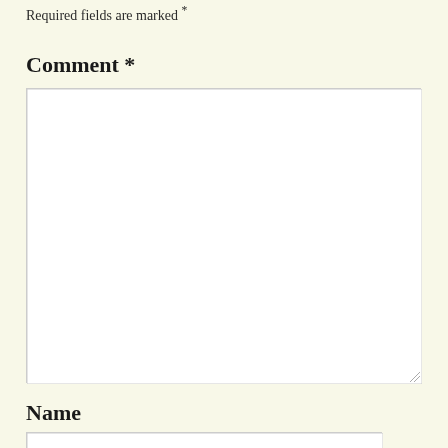Required fields are marked *
Comment *
[Figure (other): Large empty comment textarea input box with resize handle in bottom-right corner]
Name
[Figure (other): Single-line text input field for Name]